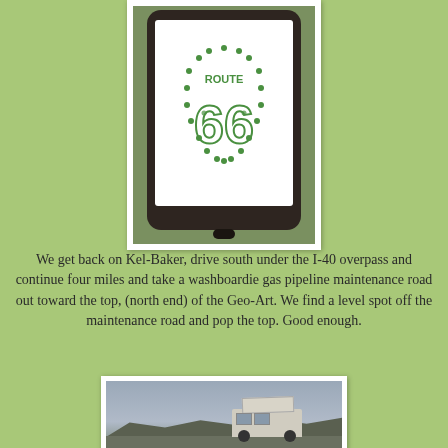[Figure (photo): A smartphone displaying a Route 66 shield logo made of green dots/rhinestones on a white background, held against a green background.]
We get back on Kel-Baker, drive south under the I-40 overpass and continue four miles and take a washboardie gas pipeline maintenance road out toward the top, (north end) of the Geo-Art. We find a level spot off the maintenance road and pop the top. Good enough.
[Figure (photo): A vehicle with its pop-top roof raised, parked in a desert landscape under a cloudy grey sky with mountains in the background.]